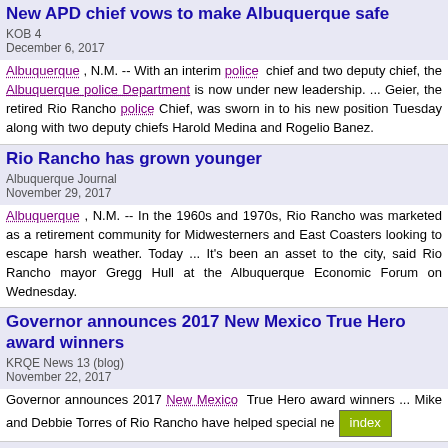New APD chief vows to make Albuquerque safe
KOB 4
December 6, 2017
Albuquerque , N.M. -- With an interim police chief and two deputy chief, the Albuquerque police Department is now under new leadership. ... Geier, the retired Rio Rancho police Chief, was sworn in to his new position Tuesday along with two deputy chiefs Harold Medina and Rogelio Banez.
Rio Rancho has grown younger
Albuquerque Journal
November 29, 2017
Albuquerque , N.M. -- In the 1960s and 1970s, Rio Rancho was marketed as a retirement community for Midwesterners and East Coasters looking to escape harsh weather. Today ... It's been an asset to the city, said Rio Rancho mayor Gregg Hull at the Albuquerque Economic Forum on Wednesday.
Governor announces 2017 New Mexico True Hero award winners
KRQE News 13 (blog)
November 22, 2017
Governor announces 2017 New Mexico True Hero award winners ... Mike and Debbie Torres of Rio Rancho have helped special ne
2017 Thanksgiving: What's open and closed in New Mexico